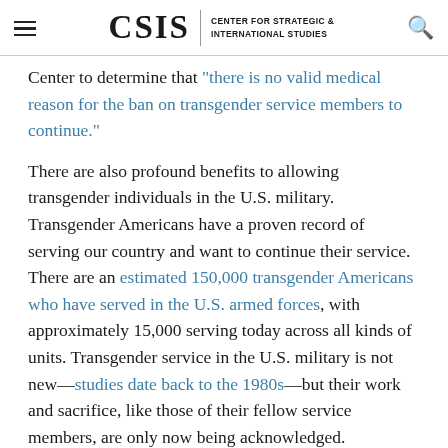CSIS | CENTER FOR STRATEGIC & INTERNATIONAL STUDIES
Center to determine that “there is no valid medical reason for the ban on transgender service members to continue.”
There are also profound benefits to allowing transgender individuals in the U.S. military. Transgender Americans have a proven record of serving our country and want to continue their service. There are an estimated 150,000 transgender Americans who have served in the U.S. armed forces, with approximately 15,000 serving today across all kinds of units. Transgender service in the U.S. military is not new—studies date back to the 1980s—but their work and sacrifice, like those of their fellow service members, are only now being acknowledged. According to the Williams Institute, “individuals assigned female at birth are nearly three times more likely than all adult women